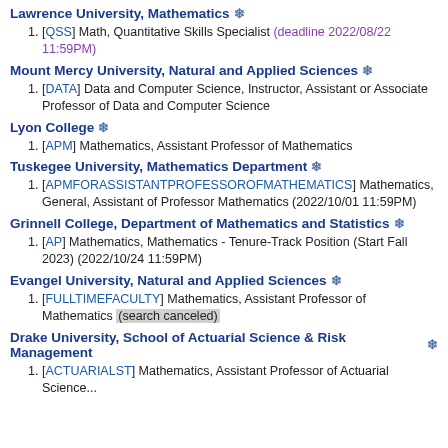Lawrence University, Mathematics ❄
[QSS] Math, Quantitative Skills Specialist (deadline 2022/08/22 11:59PM)
Mount Mercy University, Natural and Applied Sciences ❄
[DATA] Data and Computer Science, Instructor, Assistant or Associate Professor of Data and Computer Science
Lyon College ❄
[APM] Mathematics, Assistant Professor of Mathematics
Tuskegee University, Mathematics Department ❄
[APMFORASSISTANTPROFESSOROFMATHEMATICS] Mathematics, General, Assistant of Professor Mathematics (2022/10/01 11:59PM)
Grinnell College, Department of Mathematics and Statistics ❄
[AP] Mathematics, Mathematics - Tenure-Track Position (Start Fall 2023) (2022/10/24 11:59PM)
Evangel University, Natural and Applied Sciences ❄
[FULLTIMEFACULTY] Mathematics, Assistant Professor of Mathematics (search canceled)
Drake University, School of Actuarial Science & Risk Management ❄
[ACTUARIALST] Mathematics, Assistant Professor of Actuarial Science...